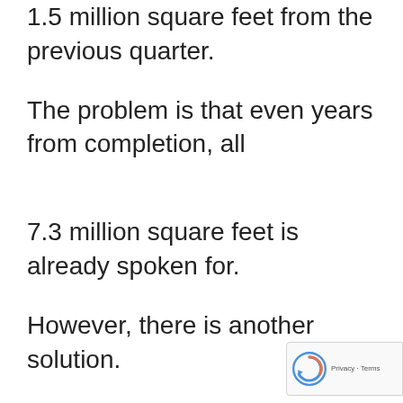1.5 million square feet from the previous quarter.
The problem is that even years from completion, all
7.3 million square feet is already spoken for.
However, there is another solution.
Shared offices seem to be the best option for new businesses, relocating businesses or expanding businesses as they present a fully serviced flexible option for any sized business. Given the shorter term